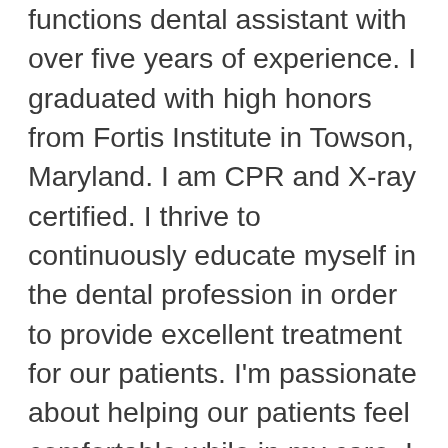functions dental assistant with over five years of experience. I graduated with high honors from Fortis Institute in Towson, Maryland. I am CPR and X-ray certified. I thrive to continuously educate myself in the dental profession in order to provide excellent treatment for our patients. I'm passionate about helping our patients feel comfortable while in my care. I truly love interacting with people and take pride in offering patients a calm and thorough experience filled with compassion. My greatest joy is seeing patients leave with a smile. I like to call myself a “dog mom.” In my spare time, you can hardly catch me without my dog, Ava, by my side. She’s my sunshine. I also enjoy spending time with